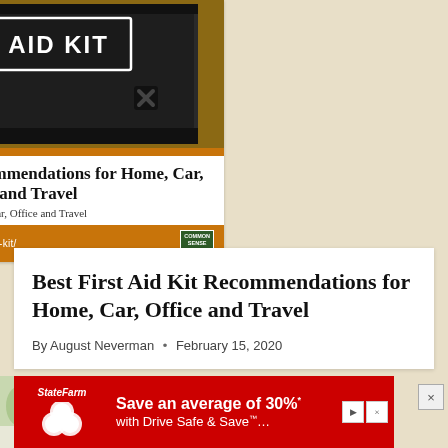[Figure (photo): Photo of a black first aid kit bag with a white label reading FIRST AID KIT, with buckle straps and orange strip at bottom]
Best First Aid Kit Recommendations for Home, Car, Office and Travel
commonsenseshome.com/best-first-aid-kit/
Best First Aid Kit Recommendations for Home, Car, Office and Travel
By August Neverman • February 15, 2020
[Figure (other): State Farm advertisement: Save an average of 30% with Drive Safe & Save]